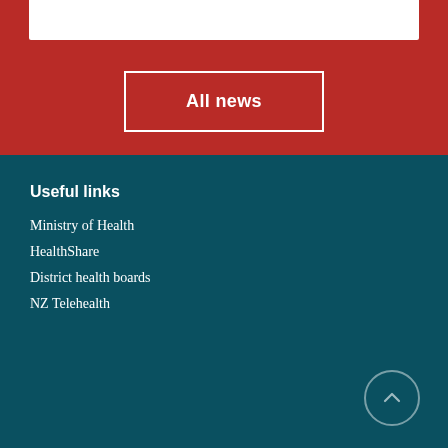All news
Useful links
Ministry of Health
HealthShare
District health boards
NZ Telehealth
For Health Professionals